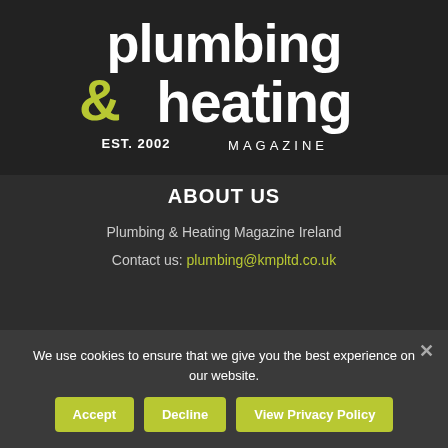[Figure (logo): Plumbing & heating Magazine logo with 'plumbing' in bold white, '&' in yellow-green, 'heating' in bold white, 'EST. 2002' and 'MAGAZINE' in white below, on dark background]
ABOUT US
Plumbing & Heating Magazine Ireland
Contact us: plumbing@kmpltd.co.uk
FOLLOW US
We use cookies to ensure that we give you the best experience on our website.
Accept  Decline  View Privacy Policy